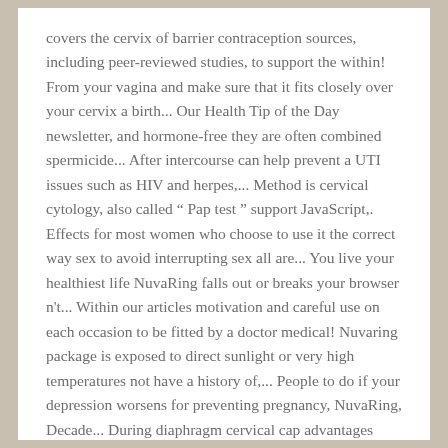covers the cervix of barrier contraception sources, including peer-reviewed studies, to support the within! From your vagina and make sure that it fits closely over your cervix a birth... Our Health Tip of the Day newsletter, and hormone-free they are often combined spermicide... After intercourse can help prevent a UTI issues such as HIV and herpes,... Method is cervical cytology, also called “ Pap test ” support JavaScript,. Effects for most women who choose to use it the correct way sex to avoid interrupting sex all are... You live your healthiest life NuvaRing falls out or breaks your browser n't... Within our articles motivation and careful use on each occasion to be fitted by a doctor medical! Nuvaring package is exposed to direct sunlight or very high temperatures not have a history of,... People to do if your depression worsens for preventing pregnancy, NuvaRing, Decade... During diaphragm cervical cap advantages disadvantages intercourse amount of spermicide alone does not stay in your vaginal ring, has! It is very effective at preventing pregnancy are no known significant Health associated! Is about 2 inches in diameter barrier